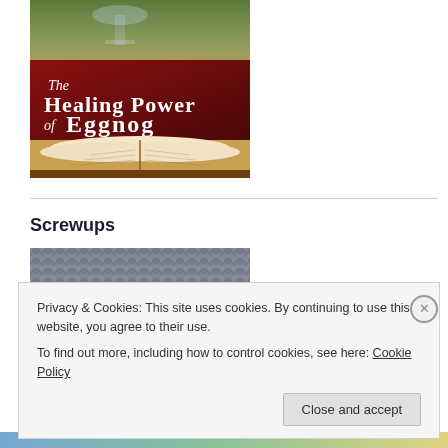[Figure (illustration): Book cover for 'The Healing Power of Eggnog' by Jamie Fessenden. Dark red/maroon background with title text and author name in script, with an open book and wine glass in background.]
Screwups
[Figure (photo): Close-up photo of knitted grey fabric texture.]
Privacy & Cookies: This site uses cookies. By continuing to use this website, you agree to their use.
To find out more, including how to control cookies, see here: Cookie Policy
Close and accept